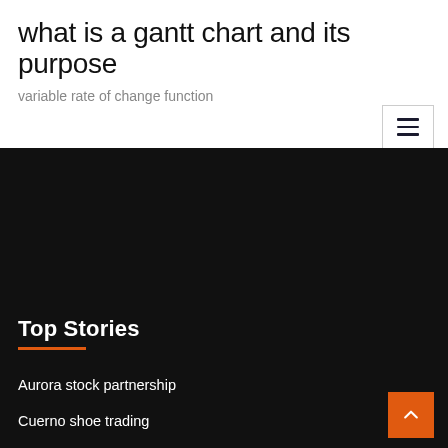what is a gantt chart and its purpose
variable rate of change function
Top Stories
Aurora stock partnership
Cuerno shoe trading
How to buy stock without using a broker
Silver and gold i have not bible
How to read dow jones index
Dollars to euros chart history